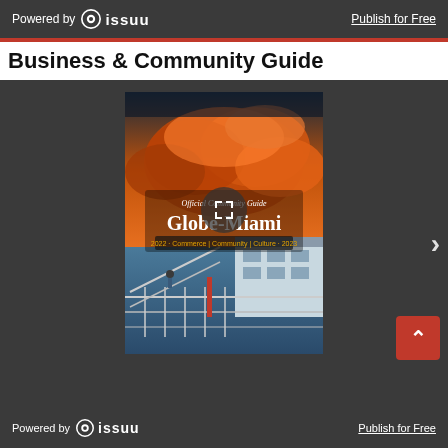Powered by issuu   Publish for Free
Business & Community Guide
[Figure (screenshot): Issuu document viewer showing the cover of the Globe-Miami Official Community Guide 2022-2023, featuring a dramatic orange cloudy sky over a rodeo arena with the text 'Official Community Guide Globe-Miami 2022 Commerce | Community | Culture 2023'. A fullscreen expand button is overlaid in the center. A right-arrow navigation control appears on the right side.]
Powered by issuu   Publish for Free